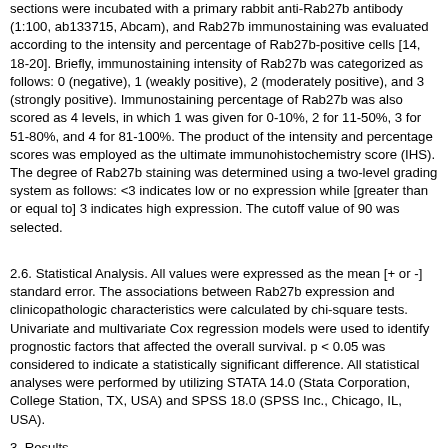sections were incubated with a primary rabbit anti-Rab27b antibody (1:100, ab133715, Abcam), and Rab27b immunostaining was evaluated according to the intensity and percentage of Rab27b-positive cells [14, 18-20]. Briefly, immunostaining intensity of Rab27b was categorized as follows: 0 (negative), 1 (weakly positive), 2 (moderately positive), and 3 (strongly positive). Immunostaining percentage of Rab27b was also scored as 4 levels, in which 1 was given for 0-10%, 2 for 11-50%, 3 for 51-80%, and 4 for 81-100%. The product of the intensity and percentage scores was employed as the ultimate immunohistochemistry score (IHS). The degree of Rab27b staining was determined using a two-level grading system as follows: <3 indicates low or no expression while [greater than or equal to] 3 indicates high expression. The cutoff value of 90 was selected.
2.6. Statistical Analysis. All values were expressed as the mean [+ or -] standard error. The associations between Rab27b expression and clinicopathologic characteristics were calculated by chi-square tests. Univariate and multivariate Cox regression models were used to identify prognostic factors that affected the overall survival. p < 0.05 was considered to indicate a statistically significant difference. All statistical analyses were performed by utilizing STATA 14.0 (Stata Corporation, College Station, TX, USA) and SPSS 18.0 (SPSS Inc., Chicago, IL, USA).
3. Results
3.1. Rab27b Expression in the TCGA Database. The TCGA database was employed, and 57 cases of LUAD were selected to preliminarily detect the RNA expression of Rab27b in LUAD tissues. As shown in Figure 1, Rab27b expression in LUAD tissues is remarkably higher than that in corresponding noncancerous tissues (p = 0.0017).